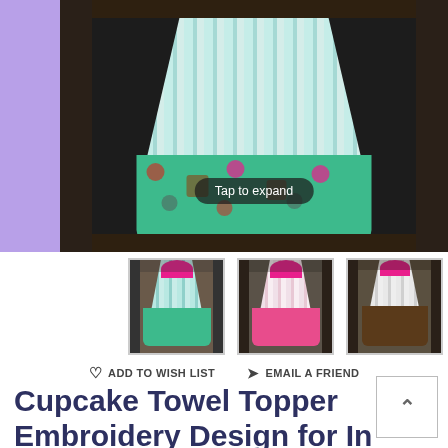[Figure (photo): Main product photo showing a cupcake-themed kitchen towel topper hanging on an oven door handle, with a teal/green cupcake fabric border and striped blue-green towel, with a 'Tap to expand' overlay button]
[Figure (photo): Thumbnail 1: Small photo of cupcake towel topper hanging on oven, teal and white striped]
[Figure (photo): Thumbnail 2: Small photo of cupcake towel topper with pink polka dot fabric on oven]
[Figure (photo): Thumbnail 3: Small photo of cupcake towel topper on oven in a different colorway]
♡  ADD TO WISH LIST     ✈ EMAIL A FRIEND
Cupcake Towel Topper Embroidery Design for In The Hoop